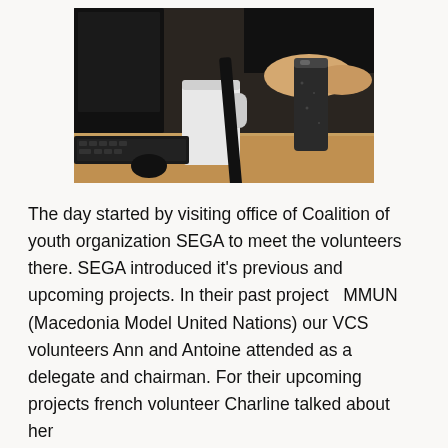[Figure (photo): A person sitting at a desk with a monitor, keyboard, a white jug/cup, and a dark beverage can on a wooden table surface.]
The day started by visiting office of Coalition of youth organization SEGA to meet the volunteers there. SEGA introduced it's previous and upcoming projects. In their past project  MMUN (Macedonia Model United Nations) our VCS volunteers Ann and Antoine attended as a delegate and chairman. For their upcoming projects french volunteer Charline talked about her